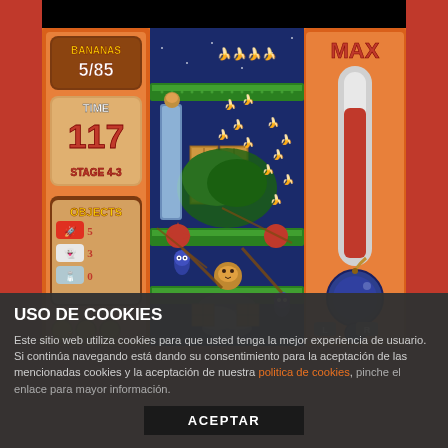[Figure (screenshot): Video game screenshot showing a platform game with bananas, a monkey character, objects panel showing 5 rockets, 3 white items, 0 salt shakers, timer showing 117 seconds at Stage 4-3, banana count 5/85, a thermometer/bomb meter on the right labeled MAX, and a game level with green platforms, crates, trees, and enemy characters.]
USO DE COOKIES
Este sitio web utiliza cookies para que usted tenga la mejor experiencia de usuario. Si continúa navegando está dando su consentimiento para la aceptación de las mencionadas cookies y la aceptación de nuestra política de cookies, pinche el enlace para mayor información.